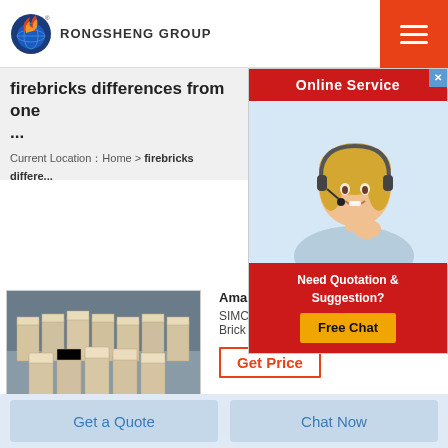RONGSHENG GROUP
firebricks differences from one ... the next
Current Location：Home > firebricks differences from one the next
[Figure (photo): Stack of beige/cream colored firebricks arranged in rows inside a warehouse]
Ama...
SIMO...
Brick 0.75 x 4.5 x 9  2500F
[Figure (photo): Online Service popup with a smiling female customer service agent wearing a headset, red header saying Online Service, and a quotation/free chat section]
Online Service
Need Quotation & Suggestion?
Free Chat
Get Price
Get a Quote
Chat Now